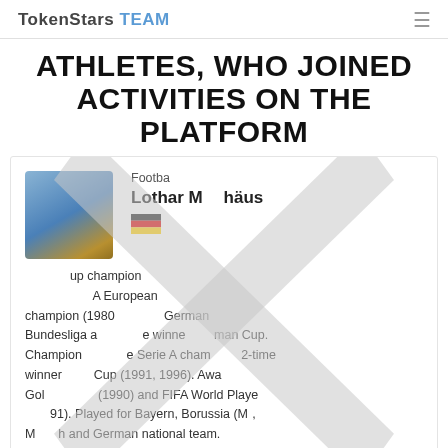TokenStars TEAM
ATHLETES, WHO JOINED ACTIVITIES ON THE PLATFORM
[Figure (photo): Athlete profile card for Lothar Matthäus showing his photo, sport category (Football), name, German flag, and career description text.]
Football
Lothar Matthäus
World Cup champion (1990). UEFA European champion (1980). 7-time German Bundesliga and 4-time winner German Cup. Champions League Serie A champion. 2-time winner DFB Cup (1991, 1996). Awarded Golden Boot (1990) and FIFA World Player (1991). Played for Bayern, Borussia (M), Munich and German national team.